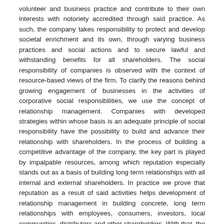volunteer and business practice and contribute to their own interests with notoriety accredited through said practice. As such, the company takes responsibility to protect and develop societal enrichment and its own, through varying business practices and social actions and to secure lawful and withstanding benefits for all shareholders. The social responsibility of companies is observed with the context of resource-based views of the firm. To clarify the reasons behind growing engagement of businesses in the activities of corporative social responsibilities, we use the concept of relationship management. Companies with developed strategies within whose basis is an adequate principle of social responsibility have the possibility to build and advance their relationship with shareholders. In the process of building a competitive advantage of the company, the key part is played by impalpable resources, among which reputation especially stands out as a basis of building long term relationships with all internal and external shareholders. In practice we prove that reputation as a result of said activities helps development of relationship management in building concrete, long term relationships with employees, consumers, investors, local communities, distributers and other shareholders. With that, the company can achieve a status high above competition, differentiation and in that context achieve a withholding competitive advantage. The main goal of said practice reflects itself in the finding of optimal strategies of corporative